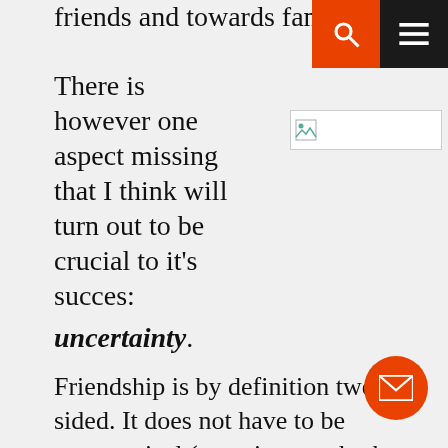friends and towards family.
[search icon] [menu icon]
There is however one aspect missing that I think will turn out to be crucial to it's succes:
[Figure (photo): Broken image placeholder with small image icon]
uncertainty.
Friendship is by definition two sided. It does not have to be symmetrical (meaning you both feel same towards eachother) but at least there is to be